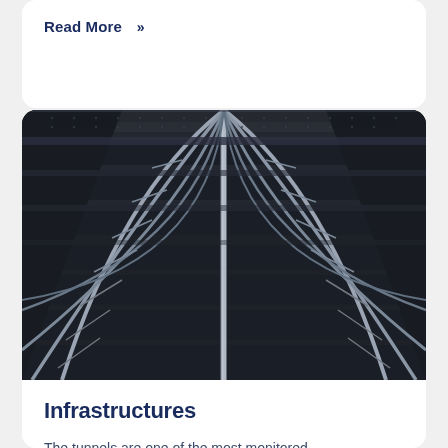Read More »
[Figure (photo): Underside view of a large steel bridge structure showing radiating arch ribs and cross-beams in dark metallic tones with silver/grey structural elements converging to a central point]
Infrastructures
The tunnels are one of the most monitored